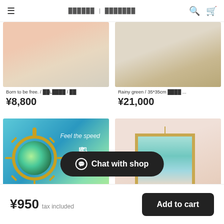☰  ██████ | ███████  🔍 🛒
[Figure (photo): Partial top of framed colorful artwork on wooden floor - left product]
Born to be free. / ██L████ / ██
¥8,800
[Figure (photo): Partial top of framed artwork on wooden surface - right product]
Rainy green / 35*35cm ████ ...
¥21,000
[Figure (photo): Alcohol ink pendant accessory with teal and green colors, Feel the speed text, 風を纏え Japanese text, Alcohol Ink Accessories label, Series badge]
[Figure (photo): Small framed teal/aqua abstract painting hanging on peach wall]
██████ / ████████
████████████021███-Sea Bre...
¥950  tax included
Add to cart